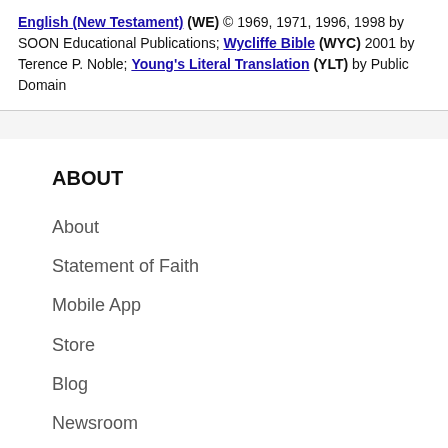English (New Testament) (WE) © 1969, 1971, 1996, 1998 by SOON Educational Publications; Wycliffe Bible (WYC) 2001 by Terence P. Noble; Young's Literal Translation (YLT) by Public Domain
ABOUT
About
Statement of Faith
Mobile App
Store
Blog
Newsroom
Support Us
HELP